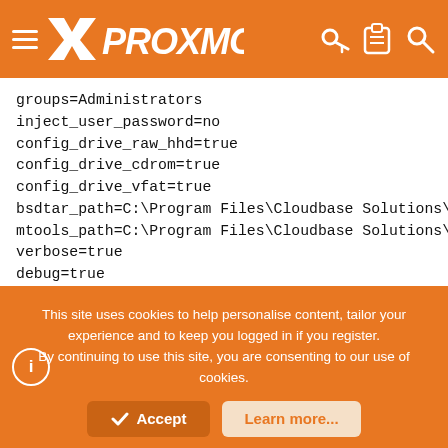PROXMOX
groups=Administrators
inject_user_password=no
config_drive_raw_hhd=true
config_drive_cdrom=true
config_drive_vfat=true
bsdtar_path=C:\Program Files\Cloudbase Solutions\Clou
mtools_path=C:\Program Files\Cloudbase Solutions\Clou
verbose=true
debug=true
logdir=C:\Program Files\Cloudbase Solutions\Cloudbase
logfile=cloudbase-init.log
default_log_levels=comtypes=INFO,suds=INFO,iso8601=WA
logging_serial_port_settings=COM1,115200,N,8
mtu_use_dhcp_config=false
This site uses cookies to help personalise content, tailor your experience and to keep you logged in if you register.
By continuing to use this site, you are consenting to our use of cookies.